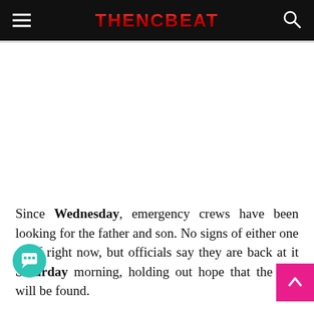THENCBEAT
Since Wednesday, emergency crews have been looking for the father and son. No signs of either one as of right now, but officials say they are back at it Saturday morning, holding out hope that the two will be found.